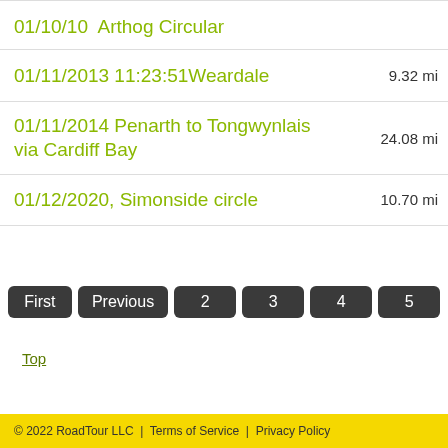| Route | Distance |
| --- | --- |
| 01/10/10  Arthog Circular |  |
| 01/11/2013 11:23:51Weardale | 9.32 mi |
| 01/11/2014 Penarth to Tongwynlais via Cardiff Bay | 24.08 mi |
| 01/12/2020, Simonside circle | 10.70 mi |
First | Previous | 2 | 3 | 4 | 5
Top
© 2022 RoadTour LLC | Terms of Service | Privacy Policy